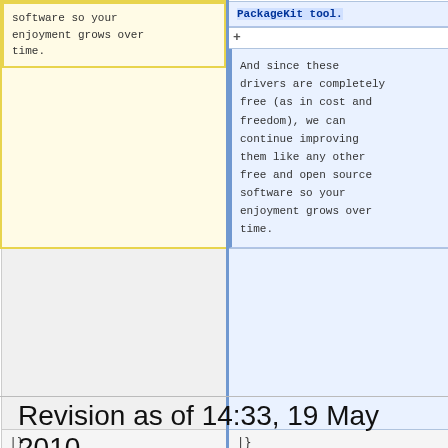| Old | New |
| --- | --- |
| software so your enjoyment grows over time. | PackageKit tool.

And since these drivers are completely free (as in cost and freedom), we can continue improving them like any other free and open source software so your enjoyment grows over time. |
| |} | |} |
Revision as of 14:33, 19 May 2010